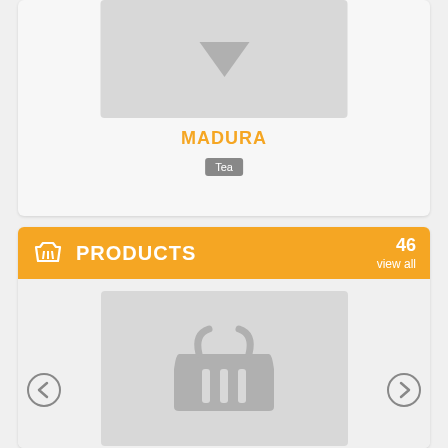[Figure (screenshot): Product card with placeholder image (grey rectangle with downward chevron) for MADURA tea product]
MADURA
Tea
[Figure (screenshot): Products section with orange header bar showing basket icon, PRODUCTS title, and 46 view all. Body shows placeholder product image (grey rectangle with basket icon) with left/right navigation arrows.]